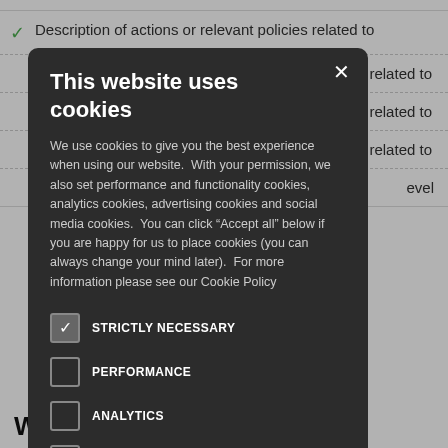✓ Description of actions or relevant policies related to
[Figure (screenshot): Cookie consent modal dialog on a dark background overlay. The modal has a dark grey background with a white X close button. Title: 'This website uses cookies'. Body text explains use of cookies including performance, functionality, analytics, advertising and social media cookies. Five checkboxes listed: STRICTLY NECESSARY (checked), PERFORMANCE (unchecked), ANALYTICS (unchecked), FUNCTIONALITY (unchecked), SOCIAL MEDIA (unchecked).]
es related to
es related to
es related to
level
W... and Transparency